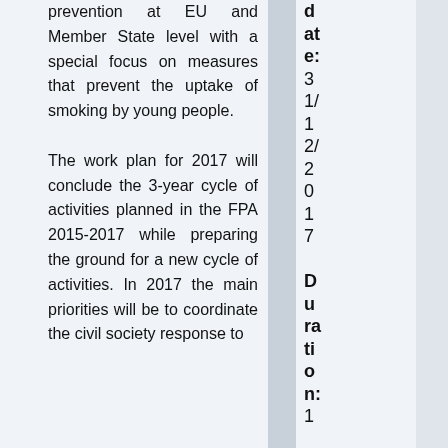prevention at EU and Member State level with a special focus on measures that prevent the uptake of smoking by young people. The work plan for 2017 will conclude the 3-year cycle of activities planned in the FPA 2015-2017 while preparing the ground for a new cycle of activities. In 2017 the main priorities will be to coordinate the civil society response to
date: 31/12/2017 Duration: 1